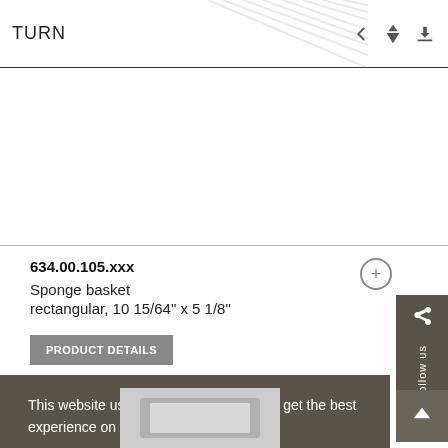TURN
634.00.105.xxx
Sponge basket
rectangular, 10 15/64" x 5 1/8"
PRODUCT DETAILS
Follow us
This website uses cookies to ensure you get the best experience on our website. Learn more
Got it!